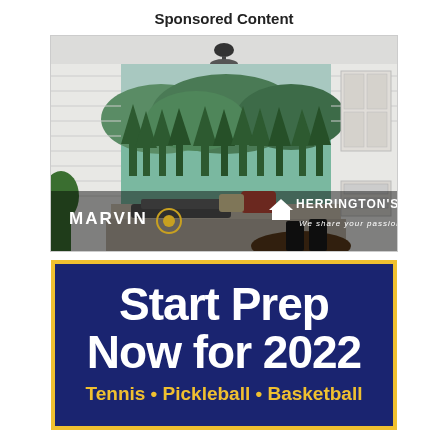Sponsored Content
[Figure (photo): Interior scene showing a large panoramic window/door opening to a forested landscape. White shiplap walls, window seat with blanket and cushions, dark wood dining table with chairs, pendant light above. Marvin and Herrington's branding at bottom of photo.]
[Figure (infographic): Advertisement with gold border, dark navy blue background. Large white bold text: 'Start Prep Now for 2022'. Yellow text below: 'Tennis • Pickleball • Basketball']